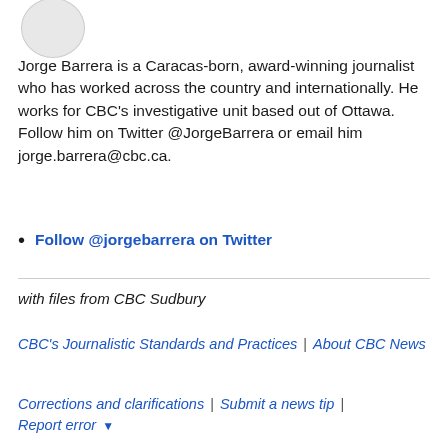[Figure (photo): Circular avatar/profile photo placeholder, grey circle]
Jorge Barrera is a Caracas-born, award-winning journalist who has worked across the country and internationally. He works for CBC's investigative unit based out of Ottawa. Follow him on Twitter @JorgeBarrera or email him jorge.barrera@cbc.ca.
Follow @jorgebarrera on Twitter
with files from CBC Sudbury
CBC's Journalistic Standards and Practices | About CBC News
Corrections and clarifications | Submit a news tip | Report error ▾